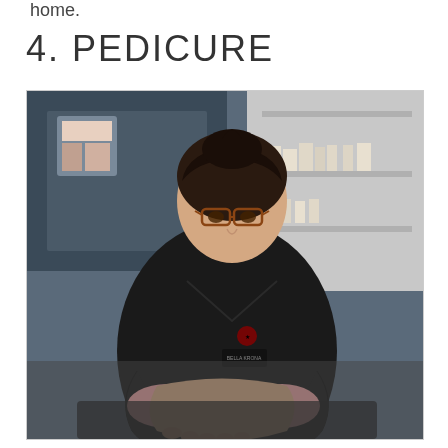home.
4. PEDICURE
[Figure (photo): A nail technician wearing dark scrubs and glasses performing a pedicure, holding and working on a client's foot. Background shows salon shelves with products.]